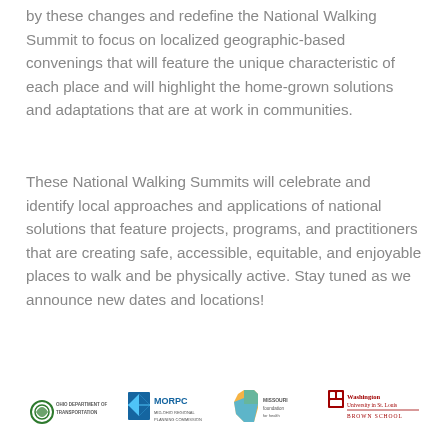by these changes and redefine the National Walking Summit to focus on localized geographic-based convenings that will feature the unique characteristic of each place and will highlight the home-grown solutions and adaptations that are at work in communities.
These National Walking Summits will celebrate and identify local approaches and applications of national solutions that feature projects, programs, and practitioners that are creating safe, accessible, equitable, and enjoyable places to walk and be physically active. Stay tuned as we announce new dates and locations!
[Figure (logo): Row of four sponsor/partner logos: Ohio Department of Transportation, MORPC Planning Commission, Missouri for Health, Washington University in St. Louis Brown School]